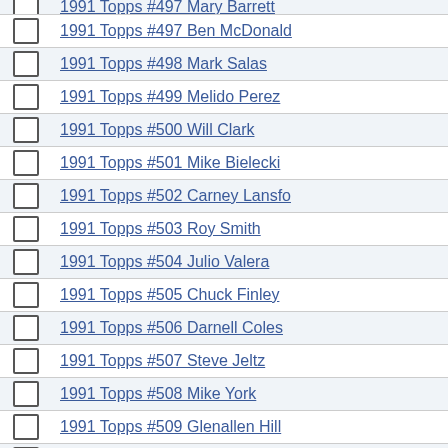1991 Topps #497 Mary Barrett (partial, top cut off)
1991 Topps #497 Ben McDonald
1991 Topps #498 Mark Salas
1991 Topps #499 Melido Perez
1991 Topps #500 Will Clark
1991 Topps #501 Mike Bielecki
1991 Topps #502 Carney Lansford
1991 Topps #503 Roy Smith
1991 Topps #504 Julio Valera
1991 Topps #505 Chuck Finley
1991 Topps #506 Darnell Coles
1991 Topps #507 Steve Jeltz
1991 Topps #508 Mike York
1991 Topps #509 Glenallen Hill
1991 Topps #510 John Franco
1991 Topps #511 Steve Balboni
1991 Topps #512 Jose Mesa
1991 Topps #513 Jerald Clark (partial, bottom cut off)